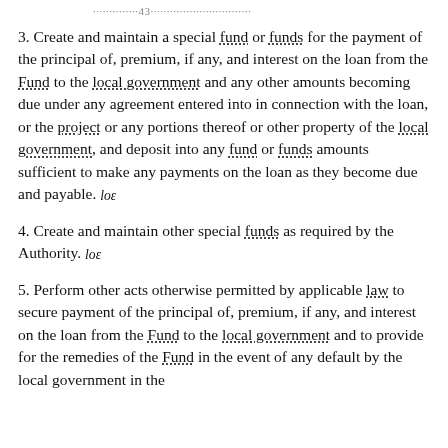...............43...........................................
3. Create and maintain a special fund or funds for the payment of the principal of, premium, if any, and interest on the loan from the Fund to the local government and any other amounts becoming due under any agreement entered into in connection with the loan, or the project or any portions thereof or other property of the local government, and deposit into any fund or funds amounts sufficient to make any payments on the loan as they become due and payable. IOE
4. Create and maintain other special funds as required by the Authority. IOE
5. Perform other acts otherwise permitted by applicable law to secure payment of the principal of, premium, if any, and interest on the loan from the Fund to the local government and to provide for the remedies of the Fund in the event of any default by the local government in the